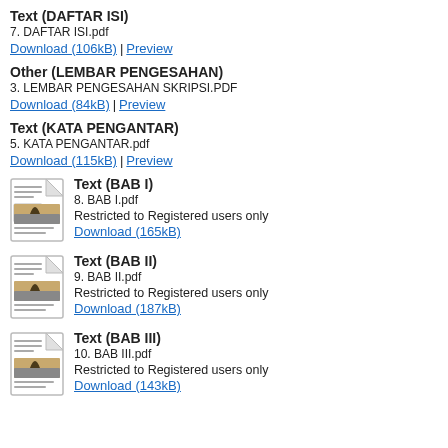Text (DAFTAR ISI)
7. DAFTAR ISI.pdf
Download (106kB) | Preview
Other (LEMBAR PENGESAHAN)
3. LEMBAR PENGESAHAN SKRIPSI.PDF
Download (84kB) | Preview
Text (KATA PENGANTAR)
5. KATA PENGANTAR.pdf
Download (115kB) | Preview
Text (BAB I)
8. BAB I.pdf
Restricted to Registered users only
Download (165kB)
Text (BAB II)
9. BAB II.pdf
Restricted to Registered users only
Download (187kB)
Text (BAB III)
10. BAB III.pdf
Restricted to Registered users only
Download (143kB)